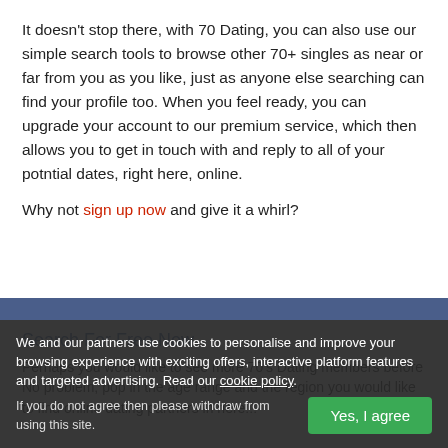It doesn't stop there, with 70 Dating, you can also use our simple search tools to browse other 70+ singles as near or far from you as you like, just as anyone else searching can find your profile too. When you feel ready, you can upgrade your account to our premium service, which then allows you to get in touch with and reply to all of your potntial dates, right here, online.
Why not sign up now and give it a whirl?
Search For Free Now
Perhaps you would like to see more 70's Dating members before...
No problem, pop in the age range and the region you would like to find online dating partners in here...
We and our partners use cookies to personalise and improve your browsing experience with exciting offers, interactive platform features and targeted advertising. Read our cookie policy. If you do not agree then please withdraw from using this site.